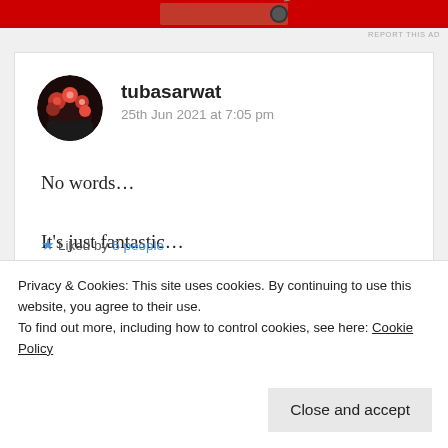[Figure (photo): Red advertisement banner at top of page with a partial view of what appears to be a camera/device on red background]
REPORT THIS AD
[Figure (photo): Circular avatar photo of a person holding red roses/flowers, dark background]
tubasarwat
25th Jun 2021 at 7:05 pm
No words…
It's just fantastic…
And loved the way you gave such strength to everyone else
Liked by 5 people
Privacy & Cookies: This site uses cookies. By continuing to use this website, you agree to their use.
To find out more, including how to control cookies, see here: Cookie Policy
Close and accept